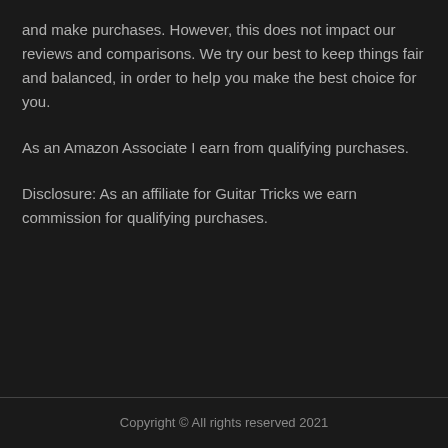and make purchases. However, this does not impact our reviews and comparisons. We try our best to keep things fair and balanced, in order to help you make the best choice for you.
As an Amazon Associate I earn from qualifying purchases.
Disclosure: As an affiliate for Guitar Tricks we earn commission for qualifying purchases.
Copyright © All rights reserved 2021